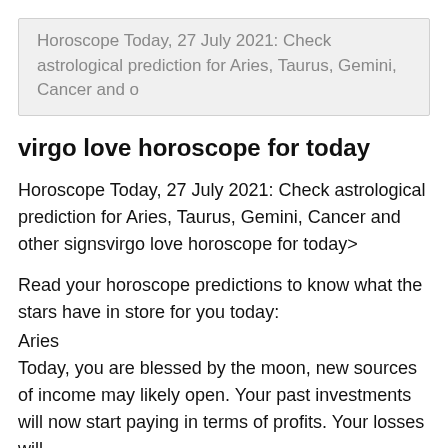Horoscope Today, 27 July 2021: Check astrological prediction for Aries, Taurus, Gemini, Cancer and o
virgo love horoscope for today
Horoscope Today, 27 July 2021: Check astrological prediction for Aries, Taurus, Gemini, Cancer and other signsvirgo love horoscope for today>
Read your horoscope predictions to know what the stars have in store for you today:
Aries
Today, you are blessed by the moon, new sources of income may likely open. Your past investments will now start paying in terms of profits. Your losses will